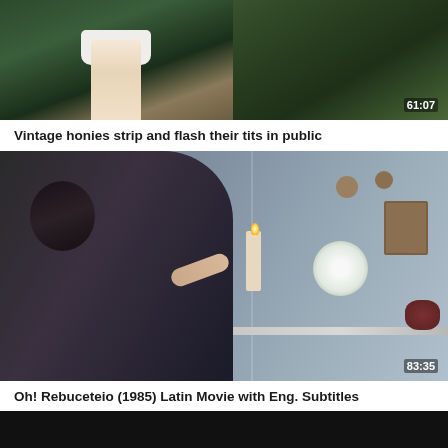[Figure (screenshot): Video thumbnail showing outdoor scene with person in white skirt/dress, legs visible, surrounded by greenery. Timestamp 61:07 in bottom right.]
Vintage honies strip and flash their tits in public
[Figure (screenshot): Video thumbnail showing indoor scene split in two panels: left panel shows a person with dark hair holding a candle, right panel shows a counter/desk with flowers, clock, and photo frame on wall. Timestamp 83:35 in bottom right.]
Oh! Rebuceteio (1985) Latin Movie with Eng. Subtitles
[Figure (screenshot): Partial dark video thumbnail at bottom of page.]